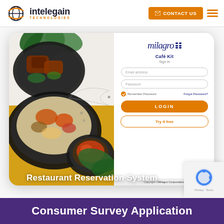intelegain TECHNOLOGIES | CONTACT US
[Figure (screenshot): Screenshot of Milagro CaféKit restaurant management login screen with food images and login form including email, password fields, remember password, LOGIN button, and Try it free button. Copyright © Milagro Corporation.]
Restaurant Reservation System
[Figure (other): reCAPTCHA badge showing spinning arrows logo with Privacy - Terms links]
Consumer Survey Application